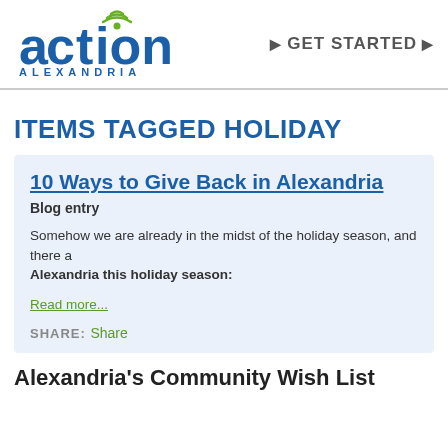[Figure (logo): Action Alexandria logo with WiFi signal icon above the 'i' in Action, and green WiFi icon on top. Blue bold text 'action' with green accents, blue spaced letters 'A L E X A N D R I A' below.]
GET STARTED ▶
ITEMS TAGGED HOLIDAY
10 Ways to Give Back in Alexandria
Blog entry
Somehow we are already in the midst of the holiday season, and there are Alexandria this holiday season:
Read more...
SHARE: Share
Alexandria's Community Wish List